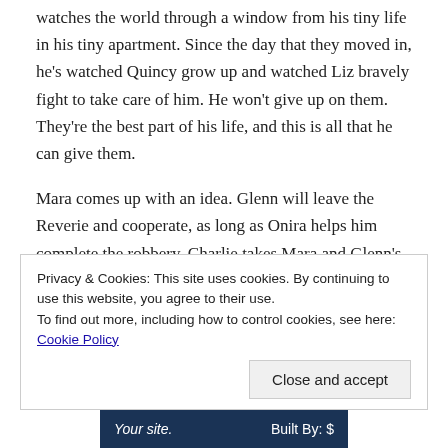watches the world through a window from his tiny life in his tiny apartment. Since the day that they moved in, he's watched Quincy grow up and watched Liz bravely fight to take care of him. He won't give up on them. They're the best part of his life, and this is all that he can give them.
Mara comes up with an idea. Glenn will leave the Reverie and cooperate, as long as Onira helps him complete the robbery. Charlie takes Mara and Glenn's deal to Monica. Glenn knows a lot about Dark Reverie that can be used to shut sites…
Privacy & Cookies: This site uses cookies. By continuing to use this website, you agree to their use.
To find out more, including how to control cookies, see here: Cookie Policy
Close and accept
Your site.   Built By: [logo]